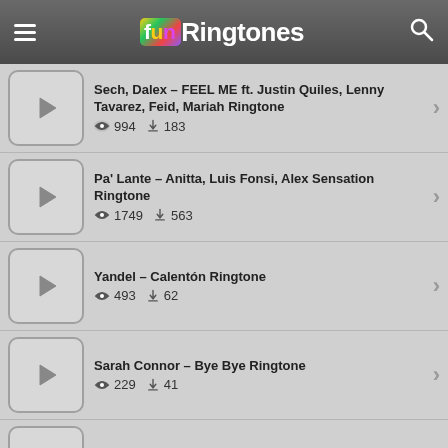funRingtones
Sech, Dalex – FEEL ME ft. Justin Quiles, Lenny Tavarez, Feid, Mariah Ringtone | views: 994 | downloads: 183
Pa' Lante – Anitta, Luis Fonsi, Alex Sensation Ringtone | views: 1749 | downloads: 563
Yandel – Calentón Ringtone | views: 493 | downloads: 62
Sarah Connor – Bye Bye Ringtone | views: 229 | downloads: 41
Aventura – Inmortal Ringtone | views: 642 | downloads: 88
Banda Los Recoditos – Perfecta Ringtone | views: 860 | downloads: 191
Yandel – Mia Mia Ringtone | views: 499 | downloads: 45